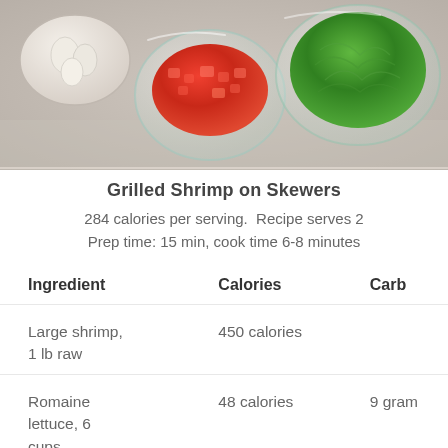[Figure (photo): Photo of cooking ingredients in glass bowls: garlic, diced red tomatoes, and fresh green lettuce/basil leaves on a light surface]
Grilled Shrimp on Skewers
284 calories per serving.  Recipe serves 2
Prep time: 15 min, cook time 6-8 minutes
| Ingredient | Calories | Carb |
| --- | --- | --- |
| Large shrimp, 1 lb raw | 450 calories |  |
| Romaine lettuce, 6 cups | 48 calories | 9 gram |